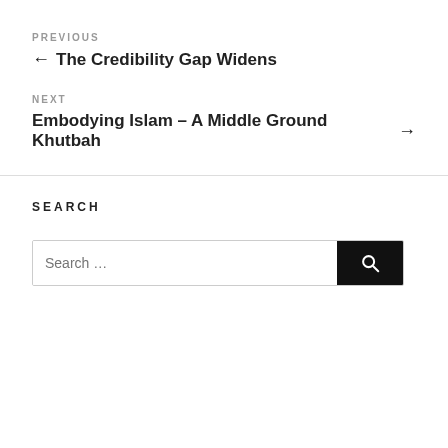PREVIOUS
← The Credibility Gap Widens
NEXT
Embodying Islam – A Middle Ground Khutbah →
SEARCH
Search …